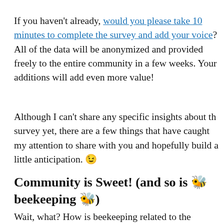If you haven't already, would you please take 10 minutes to complete the survey and add your voice? All of the data will be anonymized and provided freely to the entire community in a few weeks. Your additions will add even more value!
Although I can't share any specific insights about the survey yet, there are a few things that have caught my attention to share with you and hopefully build a little anticipation. 😉
Community is Sweet! (and so is 🐝 beekeeping 🐝)
Wait, what? How is beekeeping related to the